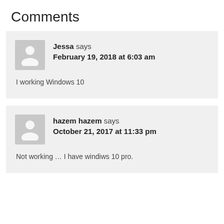Comments
Jessa says
February 19, 2018 at 6:03 am
I working Windows 10
hazem hazem says
October 21, 2017 at 11:33 pm
Not working … I have windiws 10 pro.